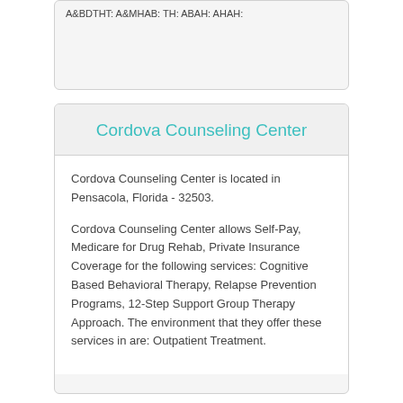Cordova Counseling Center
Cordova Counseling Center is located in Pensacola, Florida - 32503.
Cordova Counseling Center allows Self-Pay, Medicare for Drug Rehab, Private Insurance Coverage for the following services: Cognitive Based Behavioral Therapy, Relapse Prevention Programs, 12-Step Support Group Therapy Approach. The environment that they offer these services in are: Outpatient Treatment.